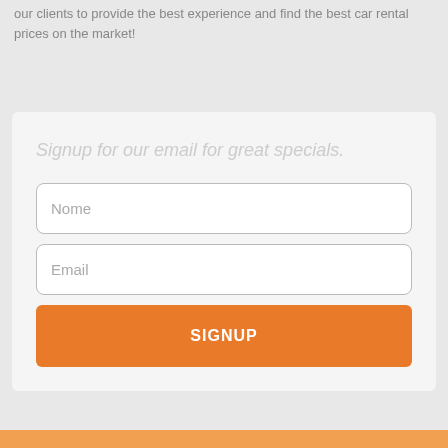our clients to provide the best experience and find the best car rental prices on the market!
[Figure (screenshot): Email signup form with heading 'Signup for our email for great specials', two input fields labeled 'Nome' and 'Email', and an orange 'SIGNUP' button]